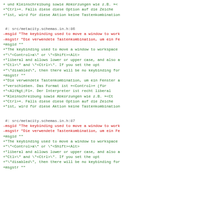Code diff / PO file content showing gettext localization entries for metacity keybinding descriptions (lines 86-87 of src/metacity.schemas.in.h)